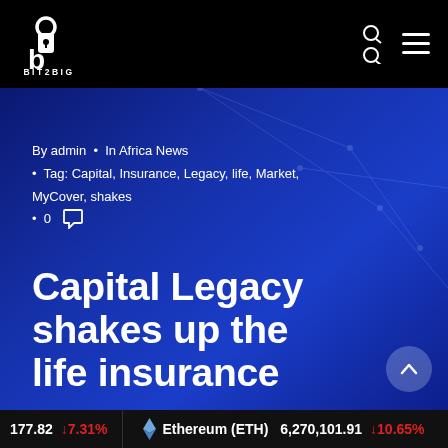BIT2BIG
By admin · In Africa News · Tag: Capital, Insurance, Legacy, life, Market, MyCover, shakes · 0
Capital Legacy shakes up the life insurance
177.82 ↓7.31% Ethereum (ETH) 6,270,101.91 ↓10.65%